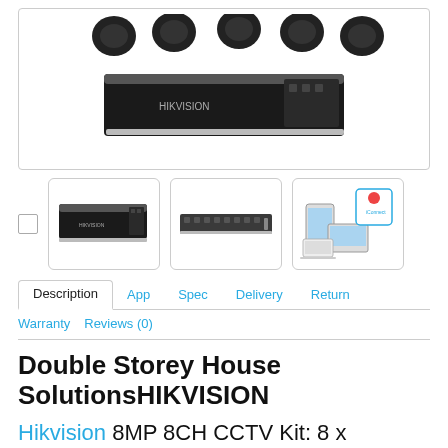[Figure (photo): Product photo showing HIKVISION NVR recorder and multiple dome cameras arranged above it, on white background]
[Figure (photo): Thumbnail 1: HIKVISION NVR device, front view, black unit]
[Figure (photo): Thumbnail 2: HIKVISION NVR device, rear/side connections view]
[Figure (photo): Thumbnail 3: App connectivity graphic showing smartphone, tablet, and laptop with iConnect app]
Description | App | Spec | Delivery | Return | Warranty | Reviews (0)
Double Storey House SolutionsHIKVISION
Hikvision 8MP 8CH CCTV Kit: 8 x IP Darkfighter Turret Cameras +